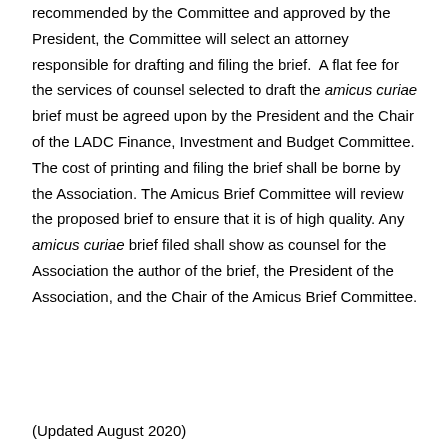recommended by the Committee and approved by the President, the Committee will select an attorney responsible for drafting and filing the brief.  A flat fee for the services of counsel selected to draft the amicus curiae brief must be agreed upon by the President and the Chair of the LADC Finance, Investment and Budget Committee. The cost of printing and filing the brief shall be borne by the Association. The Amicus Brief Committee will review the proposed brief to ensure that it is of high quality. Any amicus curiae brief filed shall show as counsel for the Association the author of the brief, the President of the Association, and the Chair of the Amicus Brief Committee.
(Updated August 2020)